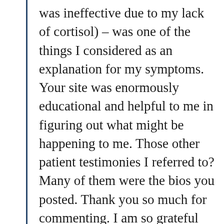was ineffective due to my lack of cortisol) – was one of the things I considered as an explanation for my symptoms. Your site was enormously educational and helpful to me in figuring out what might be happening to me. Those other patient testimonies I referred to? Many of them were the bios you posted. Thank you so much for commenting. I am so grateful for the support and encouragement. I really hope that my experiences will help other undiagnosed hypopituitary patients find their